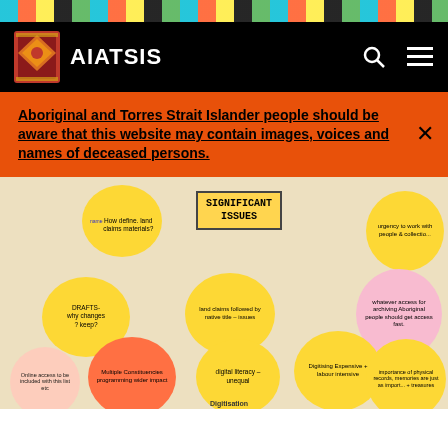[Figure (other): Decorative Aboriginal art pattern stripe in teal, orange, yellow, black, green colors]
AIATSIS
Aboriginal and Torres Strait Islander people should be aware that this website may contain images, voices and names of deceased persons.
[Figure (photo): Photo of a whiteboard with sticky notes showing significant issues themes including 'How define land claims materials?', 'DRAFTS- why changes? keep?', 'land claims followed by native title – issues', 'urgency to work with people & collections', 'whatever access for archiving Aboriginal people should get access fast', 'Digitising Expensive + labour intensive', 'digital literacy – unequal', 'importance of physical records, memories are just as important as treasures', 'Multiple Constituencies programming wider impact', 'Digitisation'. Header label reads SIGNIFICANT ISSUES.]